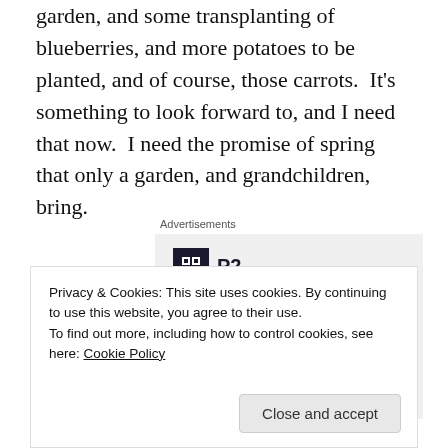garden, and some transplanting of blueberries, and more potatoes to be planted, and of course, those carrots.  It's something to look forward to, and I need that now.  I need the promise of spring that only a garden, and grandchildren, bring.
Advertisements
[Figure (other): P2 advertisement banner with logo and headline: Getting your team on the same page is easy. And free.]
Privacy & Cookies: This site uses cookies. By continuing to use this website, you agree to their use.
To find out more, including how to control cookies, see here: Cookie Policy